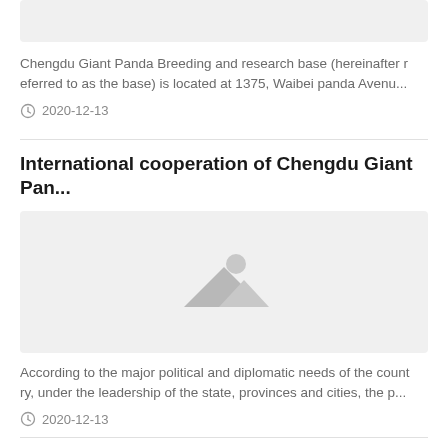[Figure (photo): Gray image placeholder at the top of the page]
Chengdu Giant Panda Breeding and research base (hereinafter referred to as the base) is located at 1375, Waibei panda Avenu...
2020-12-13
International cooperation of Chengdu Giant Pan...
[Figure (photo): Gray image placeholder with a mountain and sun icon in the center]
According to the major political and diplomatic needs of the country, under the leadership of the state, provinces and cities, the p...
2020-12-13